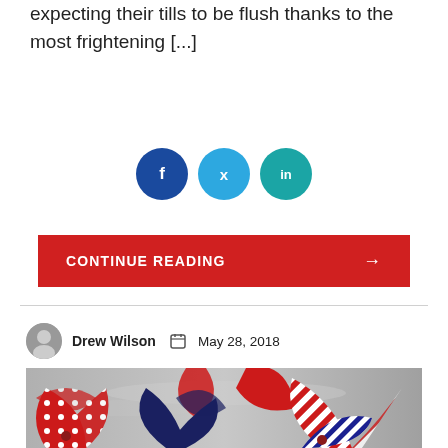expecting their tills to be flush thanks to the most frightening [...]
[Figure (other): Social share buttons: Facebook (f), Twitter (bird/t), LinkedIn (in) — three colored circles]
CONTINUE READING →
[Figure (photo): Photo of red, white and blue patriotic pinwheel decorations against a gray sky background]
Drew Wilson   May 28, 2018